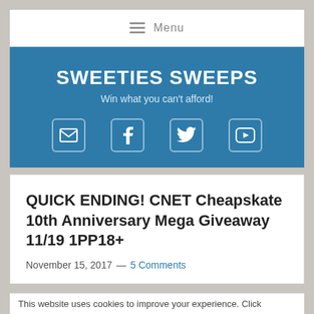≡  Menu
[Figure (logo): Sweeties Sweeps banner with blue background, title 'SWEETIES SWEEPS', subtitle 'Win what you can't afford!', and social media icons for email, Facebook, Twitter, and YouTube]
QUICK ENDING! CNET Cheapskate 10th Anniversary Mega Giveaway 11/19 1PP18+
November 15, 2017 — 5 Comments
This website uses cookies to improve your experience. Click